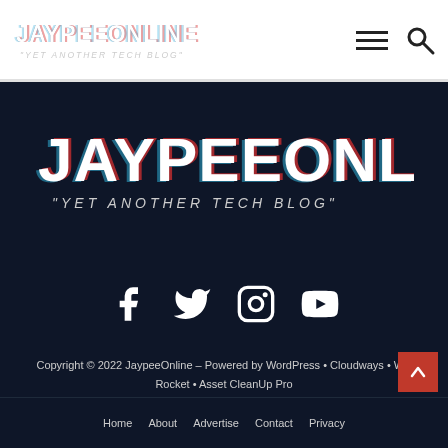JAYPEEONLINE - Yet Another Tech Blog - header with hamburger menu and search icon
[Figure (logo): JaypeeOnline logo — large glitch-style white and red text on dark navy background reading JAYPEEONLINE with subtitle YET ANOTHER TECH BLOG]
[Figure (infographic): Social media icons row: Facebook, Twitter, Instagram, YouTube — white icons on dark navy background]
Copyright © 2022 JaypeeOnline – Powered by WordPress • Cloudways • WP Rocket • Asset CleanUp Pro
Home  About  Advertise  Contact  Privacy